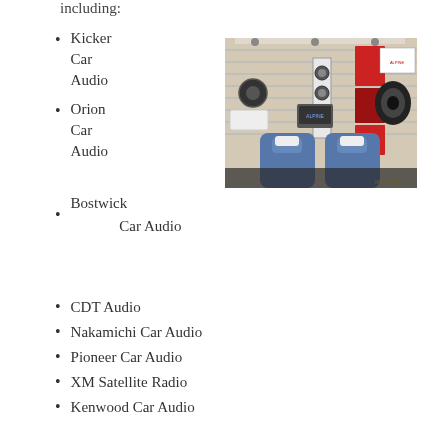including:
Kicker Car Audio
Orion Car Audio
[Figure (photo): Interior of a car audio retail store showing speakers, subwoofers, car seats for demo, and various audio equipment displayed on slatwall panels. Two blue/white car seats are visible in foreground as a demo setup.]
Bostwick Car Audio
CDT Audio
Nakamichi Car Audio
Pioneer Car Audio
XM Satellite Radio
Kenwood Car Audio